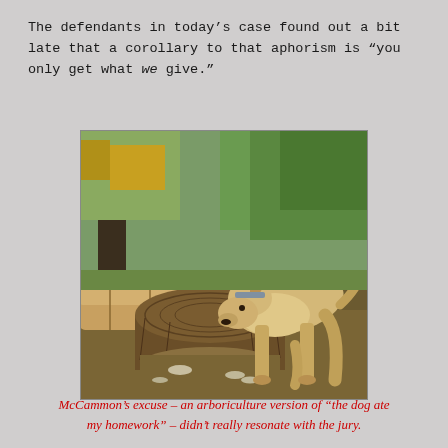The defendants in today's case found out a bit late that a corollary to that aphorism is "you only get what we give."
[Figure (photo): A tan/cream colored dog with a grey collar sniffing at a large cut tree stump and logs in a wooded forest setting with green trees in the background.]
McCammon's excuse – an arboriculture version of "the dog ate my homework" – didn't really resonate with the jury.